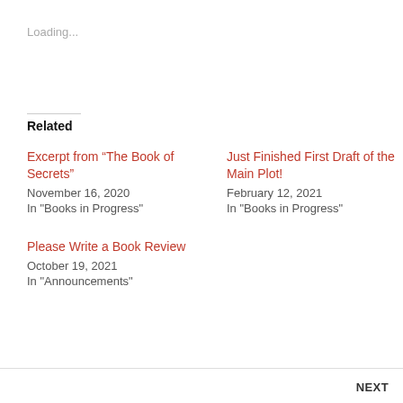Loading...
Related
Excerpt from “The Book of Secrets”
November 16, 2020
In "Books in Progress"
Just Finished First Draft of the Main Plot!
February 12, 2021
In "Books in Progress"
Please Write a Book Review
October 19, 2021
In "Announcements"
NEXT